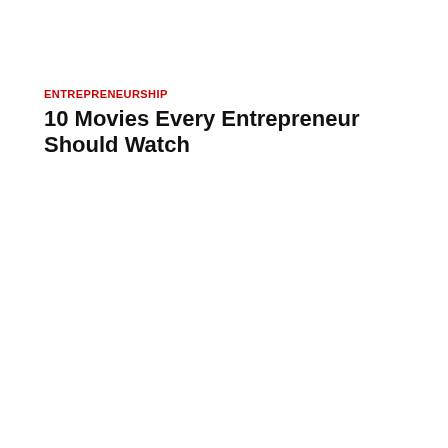ENTREPRENEURSHIP
10 Movies Every Entrepreneur Should Watch